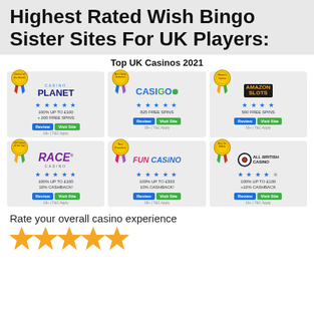Highest Rated Wish Bingo Sister Sites For UK Players:
[Figure (infographic): Top UK Casinos 2021 grid showing 6 casino cards: Casino Planet (Casino of the Month, 5 stars, 100% UP TO £100 + 200 FREE SPINS), CasiGo (Best Game Selection, 5 stars, 825 FREE SPINS), Amazon Slots (Newest Casino, 4 stars, 500 FREE SPINS), Race Casino (UK Casino of the Year, 5 stars, 100% UP TO £100 10% CASHBACK!), Fun Casino (Best Promotions, 5 stars, 100% UP TO £333 10% CASHBACK!), All British Casino (Best for Mobile, 4.5 stars, 100% UP TO £100 +10% CASHBACK). Each card has Review and Visit Site buttons.]
Rate your overall casino experience
[Figure (other): Five large yellow/orange star outlines for rating]